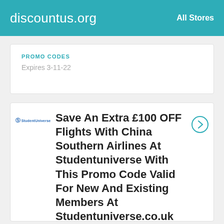discountus.org   All Stores
PROMO CODES
Expires 3-11-22
Save An Extra £100 OFF Flights With China Southern Airlines At Studentuniverse With This Promo Code Valid For New And Existing Members At Studentuniverse.co.uk
PROMO CODES
Expires 3-12-22